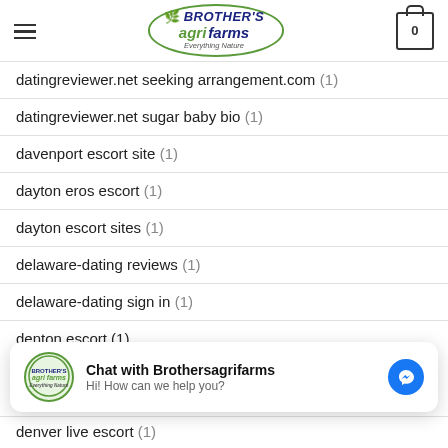Brother's Agri Farms — Everything Nature
datingreviewer.net seeking arrangement.com (1)
datingreviewer.net sugar baby bio (1)
davenport escort site (1)
dayton eros escort (1)
dayton escort sites (1)
delaware-dating reviews (1)
delaware-dating sign in (1)
denton escort (1)
[Figure (screenshot): Chat with Brothersagrifarms widget — Hi! How can we help you?]
denver live escort (1)